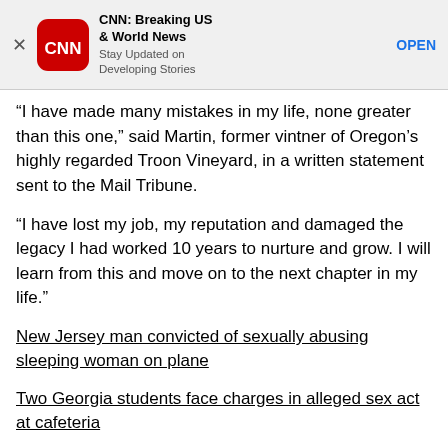[Figure (screenshot): CNN app advertisement banner with CNN logo, title 'CNN: Breaking US & World News', subtitle 'Stay Updated on Developing Stories', and OPEN button]
“I have made many mistakes in my life, none greater than this one,” said Martin, former vintner of Oregon’s highly regarded Troon Vineyard, in a written statement sent to the Mail Tribune.
“I have lost my job, my reputation and damaged the legacy I had worked 10 years to nurture and grow. I will learn from this and move on to the next chapter in my life.”
New Jersey man convicted of sexually abusing sleeping woman on plane
Two Georgia students face charges in alleged sex act at cafeteria